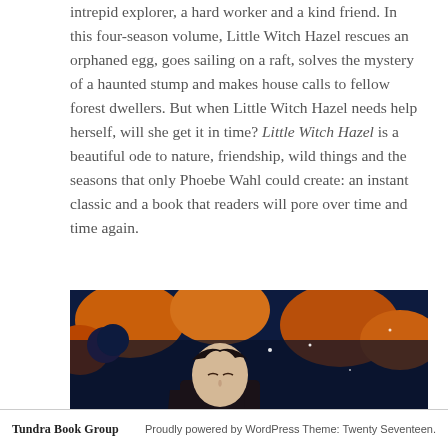intrepid explorer, a hard worker and a kind friend. In this four-season volume, Little Witch Hazel rescues an orphaned egg, goes sailing on a raft, solves the mystery of a haunted stump and makes house calls to fellow forest dwellers. But when Little Witch Hazel needs help herself, will she get it in time? Little Witch Hazel is a beautiful ode to nature, friendship, wild things and the seasons that only Phoebe Wahl could create: an instant classic and a book that readers will pore over time and time again.
[Figure (illustration): Book cover illustration showing a dark, moody image with a figure and decorative elements, with the title 'MARY' visible at the bottom, featuring dark blues, oranges, and earth tones]
Tundra Book Group   Proudly powered by WordPress Theme: Twenty Seventeen.